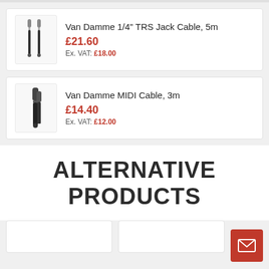[Figure (other): Van Damme 1/4 inch TRS Jack Cable product image showing two jack plugs]
Van Damme 1/4" TRS Jack Cable, 5m
£21.60
Ex. VAT: £18.00
[Figure (other): Van Damme MIDI Cable product image showing black cable with connectors]
Van Damme MIDI Cable, 3m
£14.40
Ex. VAT: £12.00
ALTERNATIVE PRODUCTS